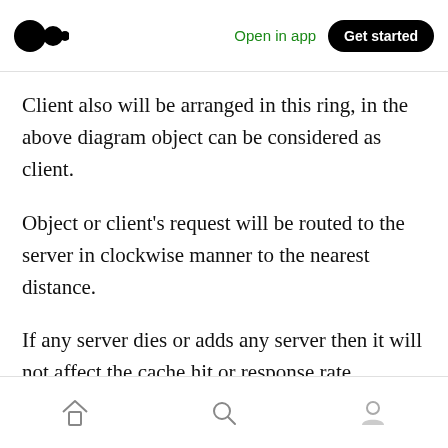Medium logo | Open in app | Get started
Client also will be arranged in this ring, in the above diagram object can be considered as client.
Object or client's request will be routed to the server in clockwise manner to the nearest distance.
If any server dies or adds any server then it will not affect the cache hit or response rate.
So if we want a more evenly distributed System then we can use complex hash.
Home | Search | Profile